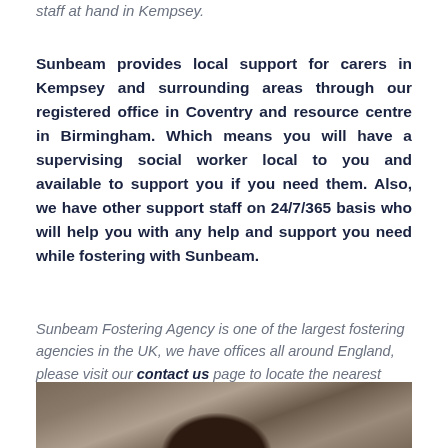staff at hand in Kempsey.
Sunbeam provides local support for carers in Kempsey and surrounding areas through our registered office in Coventry and resource centre in Birmingham. Which means you will have a supervising social worker local to you and available to support you if you need them. Also, we have other support staff on 24/7/365 basis who will help you with any help and support you need while fostering with Sunbeam.
Sunbeam Fostering Agency is one of the largest fostering agencies in the UK, we have offices all around England, please visit our contact us page to locate the nearest Sunbeam office to Kempsey.
[Figure (photo): Photo of a person with dark hair outdoors with a rocky/leafy background]